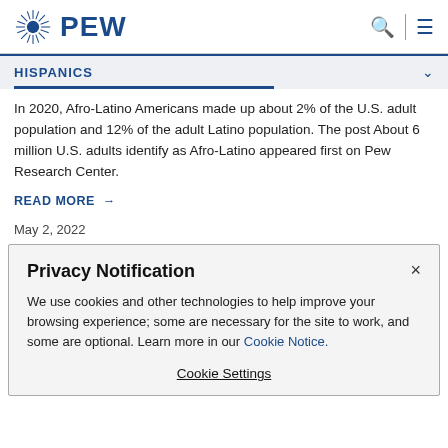PEW
HISPANICS
In 2020, Afro-Latino Americans made up about 2% of the U.S. adult population and 12% of the adult Latino population. The post About 6 million U.S. adults identify as Afro-Latino appeared first on Pew Research Center.
READ MORE →
May 2, 2022
Privacy Notification
We use cookies and other technologies to help improve your browsing experience; some are necessary for the site to work, and some are optional. Learn more in our Cookie Notice.
Cookie Settings